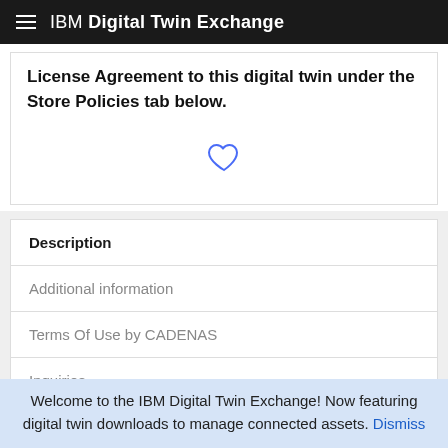IBM Digital Twin Exchange
License Agreement to this digital twin under the Store Policies tab below.
[Figure (illustration): Heart (favorite) icon outlined in blue]
| Description |
| --- |
| Additional information |
| Terms Of Use by CADENAS |
| Inquiries |
Welcome to the IBM Digital Twin Exchange! Now featuring digital twin downloads to manage connected assets. Dismiss